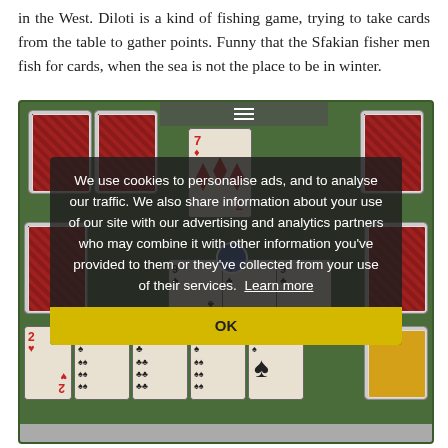in the West. Diloti is a kind of fishing game, trying to take cards from the table to gather points. Funny that the Sfakian fishermen fish for cards, when the sea is not the place to be in winter.
[Figure (screenshot): Screenshot of a digital card game (Diloti) showing a green felt table with face-down red cards arranged around the table edges and face-up playing cards (7 of diamonds, 9s, clubs, spades, hearts) in the center. A cookie consent overlay reads: 'We use cookies to personalise ads, and to analyse our traffic. We also share information about your use of our site with our advertising and analytics partners who may combine it with other information you've provided to them or they've collected from your use of their services. Learn more' with an OK button.]